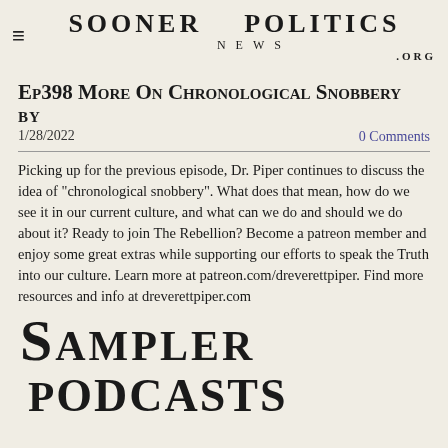SOONER POLITICS NEWS .ORG
Ep398 More On Chronological Snobbery
BY
1/28/2022
0 Comments
Picking up for the previous episode, Dr. Piper continues to discuss the idea of "chronological snobbery". What does that mean, how do we see it in our current culture, and what can we do and should we do about it? Ready to join The Rebellion? Become a patreon member and enjoy some great extras while supporting our efforts to speak the Truth into our culture. Learn more at patreon.com/dreverettpiper. Find more resources and info at dreverettpiper.com
[Figure (logo): Sampler Podcasts decorative typographic logo in black serif font]